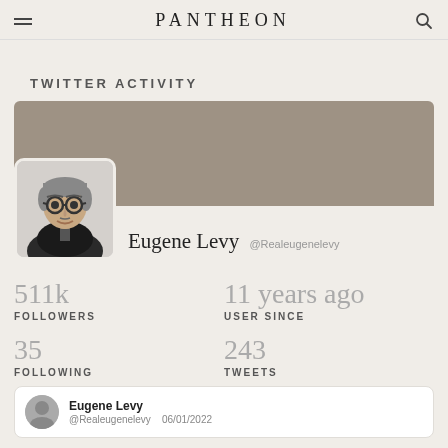PANTHEON
TWITTER ACTIVITY
[Figure (screenshot): Twitter profile card for Eugene Levy (@Realeugenelevy) showing a gray banner, profile photo, name, handle, and stats: 511k followers, 11 years ago user since, 35 following, 243 tweets]
Eugene Levy @Realeugenelevy
511k FOLLOWERS
11 years ago USER SINCE
35 FOLLOWING
243 TWEETS
Eugene Levy @Realeugenelevy 06/01/2022